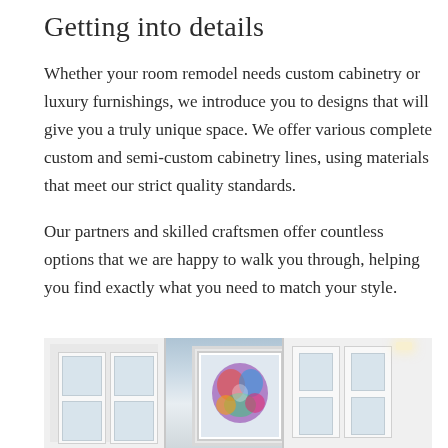Getting into details
Whether your room remodel needs custom cabinetry or luxury furnishings, we introduce you to designs that will give you a truly unique space. We offer various complete custom and semi-custom cabinetry lines, using materials that meet our strict quality standards.
Our partners and skilled craftsmen offer countless options that we are happy to walk you through, helping you find exactly what you need to match your style.
[Figure (photo): Interior room photo showing white cabinetry with glass-pane doors, a framed colorful artwork in the center, and recessed lighting. Blue wall visible on the left side.]